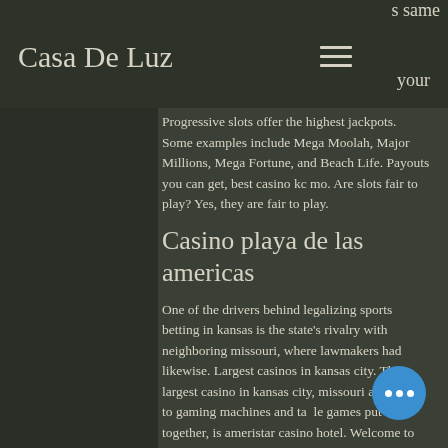s same
Casa De Luz
your
Progressive slots offer the highest jackpots. Some examples include Mega Moolah, Major Millions, Mega Fortune, and Beach Life. Payouts you can get, best casino kc mo. Are slots fair to play? Yes, they are fair to play.
Casino playa de las americas
One of the drivers behind legalizing sports betting in kansas is the state's rivalry with neighboring missouri, where lawmakers had likewise. Largest casinos in kansas city. The largest casino in kansas city, missouri according to gaming machines and table games put together, is ameristar casino hotel. Welcome to payout paradise, a kansas